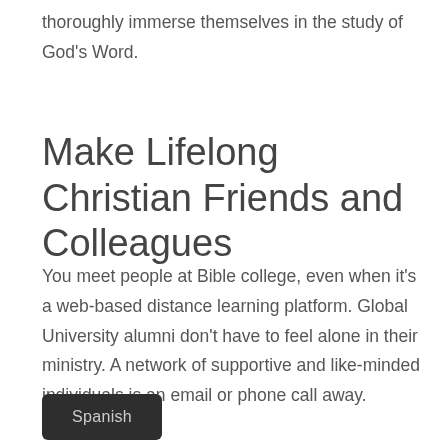thoroughly immerse themselves in the study of God's Word.
Make Lifelong Christian Friends and Colleagues
You meet people at Bible college, even when it's a web-based distance learning platform. Global University alumni don't have to feel alone in their ministry. A network of supportive and like-minded individuals is an email or phone call away.
Spanish